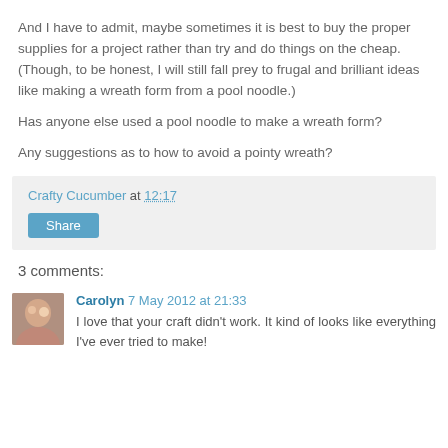And I have to admit, maybe sometimes it is best to buy the proper supplies for a project rather than try and do things on the cheap. (Though, to be honest, I will still fall prey to frugal and brilliant ideas like making a wreath form from a pool noodle.)
Has anyone else used a pool noodle to make a wreath form?
Any suggestions as to how to avoid a pointy wreath?
Crafty Cucumber at 12:17
Share
3 comments:
Carolyn 7 May 2012 at 21:33
I love that your craft didn't work. It kind of looks like everything I've ever tried to make!